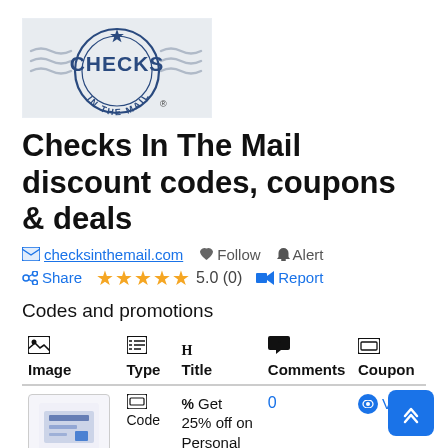[Figure (logo): Checks In The Mail logo — circular stamp-style logo with a star at top, wavy lines on sides, 'CHECKS' in large letters, 'IN THE MAIL' around the bottom arc, on a light grey rectangular background]
Checks In The Mail discount codes, coupons & deals
checksinthemail.com  Follow  Alert
Share  ★★★★★ 5.0 (0)  Report
Codes and promotions
| Image | Type | H Title | Comments | Coupon |
| --- | --- | --- | --- | --- |
| [image] | Code | % Get 25% off on Personal | 0 | View |